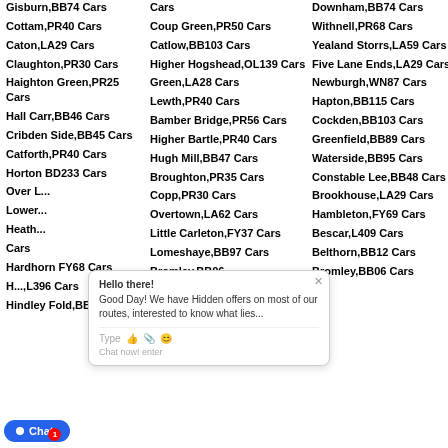Gisburn,BB74 Cars
Downham,BB74 Cars
Cottam,PR40 Cars
Coup Green,PR50 Cars
Withnell,PR68 Cars
Caton,LA29 Cars
Catlow,BB103 Cars
Yealand Storrs,LA59 Cars
Claughton,PR30 Cars
Higher Hogshead,OL139 Cars
Five Lane Ends,LA29 Cars
Haighton Green,PR25 Cars
Green,LA28 Cars
Newburgh,WN87 Cars
Hall Carr,BB46 Cars
Lewth,PR40 Cars
Hapton,BB115 Cars
Cribden Side,BB45 Cars
Bamber Bridge,PR56 Cars
Cockden,BB103 Cars
Catforth,PR40 Cars
Higher Bartle,PR40 Cars
Greenfield,BB89 Cars
Horton BD233 Cars
Hugh Mill,BB47 Cars
Waterside,BB95 Cars
Over L...
Broughton,PR35 Cars
Constable Lee,BB48 Cars
Lower...
Copp,PR30 Cars
Brookhouse,LA29 Cars
Heath...
Overtown,LA62 Cars
Hambleton,FY69 Cars
Hardhorn FY68 Cars
Little Carleton,FY37 Cars
Bescar,L409 Cars
H...,L396 Cars
Lomeshaye,BB97 Cars
Belthorn,BB12 Cars
Hindley Fold,BB67 Cars
Bromley,BB06 Cars